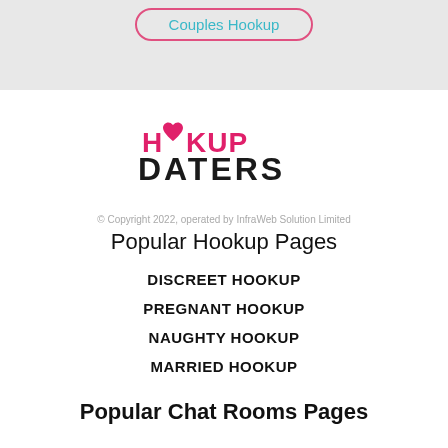Couples Hookup
[Figure (logo): Hookup Daters logo with heart icon replacing the two O letters in HOOKUP, and bold DATERS below]
© Copyright 2022, operated by InfraWeb Solution Limited
Popular Hookup Pages
DISCREET HOOKUP
PREGNANT HOOKUP
NAUGHTY HOOKUP
MARRIED HOOKUP
Popular Chat Rooms Pages